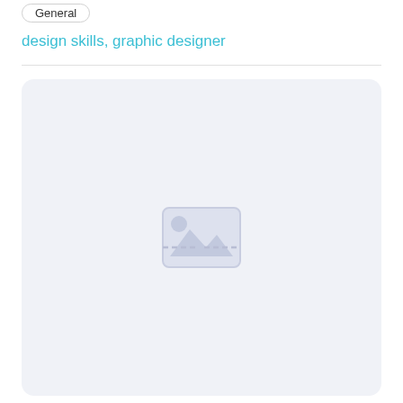General
design skills, graphic designer
[Figure (illustration): Placeholder image icon showing a broken/missing image symbol on a light lavender rounded rectangle background]